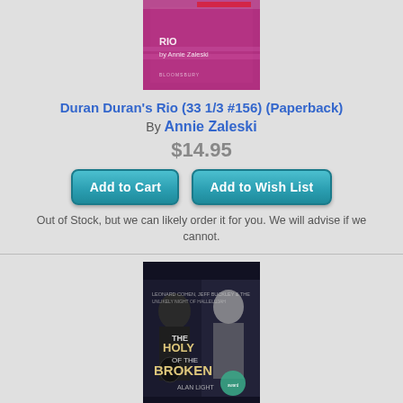[Figure (photo): Book cover for Duran Duran's Rio (33 1/3 #156) — pink/purple cover with 'RIO by Annie Zaleski' text and Bloomsbury publisher logo]
Duran Duran's Rio (33 1/3 #156) (Paperback)
By Annie Zaleski
$14.95
Add to Cart | Add to Wish List
Out of Stock, but we can likely order it for you. We will advise if we cannot.
[Figure (photo): Book cover for 'The Holy or the Broken: Leonard Cohen, Jeff Buckley, and the Unlikely Night of Hallelujah' by Alan Light — dark cover with images of two musicians]
The Holy or the Broken: Leonard Cohen, Jeff Buckley, and the Unlikely Ascent of